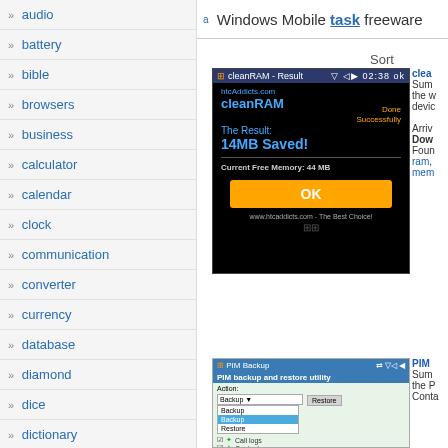a Windows Mobile task freeware
audio
battery
bible
browsers
business
calculator
calendar
clock
communication
converter
currency
database
diamond
dice
dictionary
ebook
educational
emulators
engineering
[Figure (screenshot): cleanRAM app screenshot showing 14MB Saved and Current Free Memory: 44MB with an OK button]
cleanRAM Summary: the w... devic... Arri... Dow... Foun... ram, mem...
[Figure (screenshot): PIM Backup app screenshot showing backup and restore utility with Action dropdown open showing Backup and Restore options, with Contacts checkbox]
PIM Backup Summary: the P... Conta...